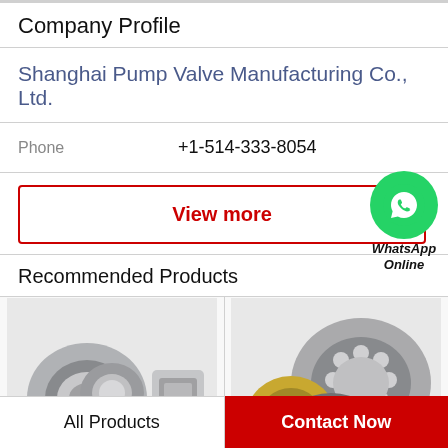Company Profile
Shanghai Pump Valve Manufacturing Co., Ltd.
Phone   +1-514-333-8054
View more
[Figure (logo): WhatsApp icon green circle with phone handset, with text WhatsApp Online below]
Recommended Products
[Figure (photo): Photo of metal roller bearings and cylindrical bearings on white background]
[Figure (photo): Photo of ball bearings including one with gold/brass cage on white background]
All Products
Contact Now